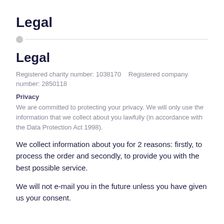Legal
Legal
Registered charity number: 1038170   Registered company number: 2850118
Privacy
We are committed to protecting your privacy. We will only use the information that we collect about you lawfully (in accordance with the Data Protection Act 1998).
We collect information about you for 2 reasons: firstly, to process the order and secondly, to provide you with the best possible service.
We will not e-mail you in the future unless you have given us your consent.